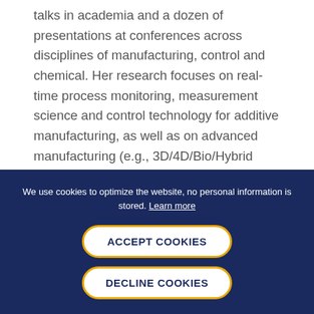talks in academia and a dozen of presentations at conferences across disciplines of manufacturing, control and chemical. Her research focuses on real-time process monitoring, measurement science and control technology for additive manufacturing, as well as on advanced manufacturing (e.g., 3D/4D/Bio/Hybrid Printing) for multi-scale,
We use cookies to optimize the website, no personal information is stored. Learn more
ACCEPT COOKIES
DECLINE COOKIES